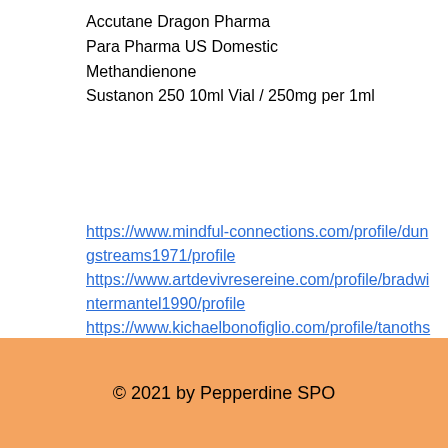Accutane Dragon Pharma
Para Pharma US Domestic
Methandienone
Sustanon 250 10ml Vial / 250mg per 1ml
https://www.mindful-connections.com/profile/dungstreams1971/profile https://www.artdevivresereine.com/profile/bradwintermantel1990/profile https://www.kichaelbonofiglio.com/profile/tanothstein1970/profile https://www.easyuro.com/profile/moshepezzullo1990/profile
© 2021 by Pepperdine SPO